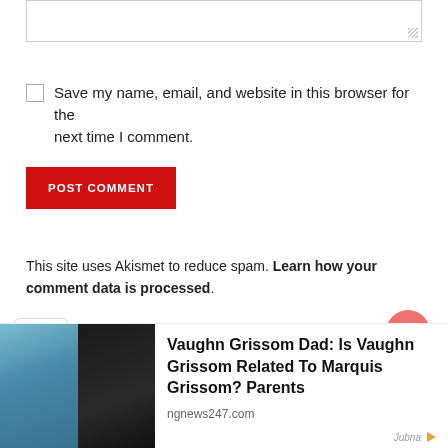[textarea input box]
Save my name, email, and website in this browser for the next time I comment.
POST COMMENT
This site uses Akismet to reduce spam. Learn how your comment data is processed.
[Figure (screenshot): Notification bell button (red circle with bell icon)]
[Figure (screenshot): Collapse/chevron down button]
[Figure (photo): Advertisement banner: Vaughn Grissom Dad: Is Vaughn Grissom Related To Marquis Grissom? Parents - ngnews247.com (Jubna ad)]